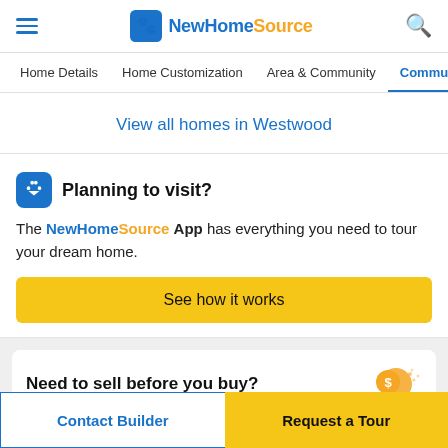NewHomeSource
Home Details | Home Customization | Area & Community | Community &
View all homes in Westwood
Planning to visit?
The NewHomeSource App has everything you need to tour your dream home.
See how it works
Need to sell before you buy?
Contact Builder
Request a Tour